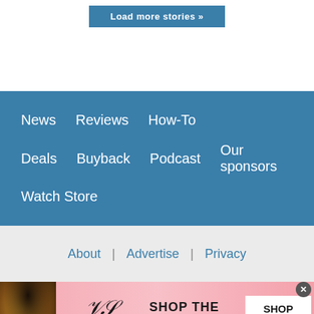Load more stories »
News
Reviews
How-To
Deals
Buyback
Podcast
Our sponsors
Watch Store
About  |  Advertise  |  Privacy
[Figure (photo): Victoria's Secret advertisement with model, logo, 'SHOP THE COLLECTION' text, and 'SHOP NOW' button]